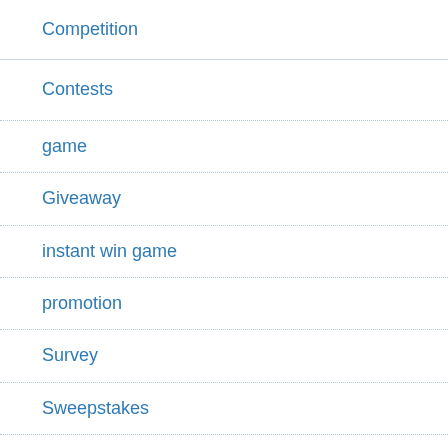Competition
Contests
game
Giveaway
instant win game
promotion
Survey
Sweepstakes